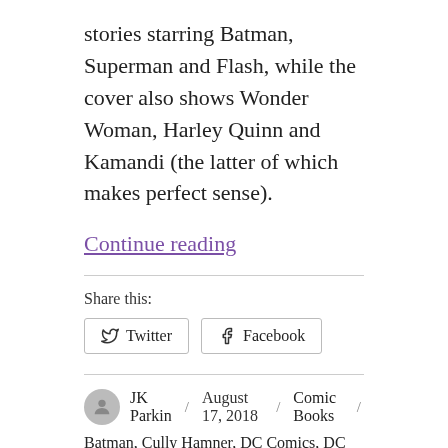stories starring Batman, Superman and Flash, while the cover also shows Wonder Woman, Harley Quinn and Kamandi (the latter of which makes perfect sense).
Continue reading
Share this:
Twitter   Facebook
JK Parkin / August 17, 2018 / Comic Books / Batman, Cully Hamner, DC Comics, DC Nuclear Winter Special, Harley Quinn, Kamandi, Mairghread Scott, Mark Russell, Paul Dini, Phil Hester, Steve Orlando, Superman, The Flash, Wonder Woman, Yanick Paquette / Leave a